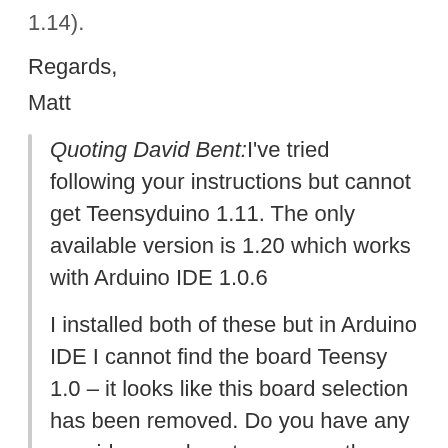1.14).
Regards,
Matt
Quoting David Bent:I've tried following your instructions but cannot get Teensyduino 1.11. The only available version is 1.20 which works with Arduino IDE 1.0.6
I installed both of these but in Arduino IDE I cannot find the board Teensy 1.0 – it looks like this board selection has been removed. Do you have any new ideas on how to program the Minimus AVR? Or do you know where an older version of